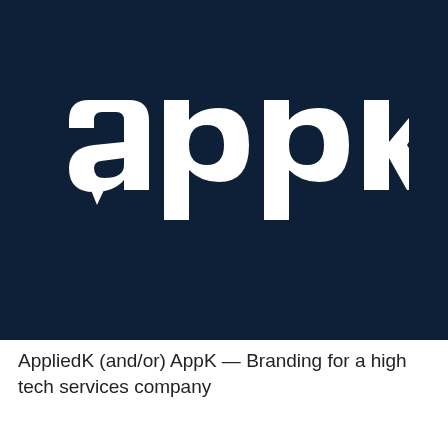[Figure (logo): The word 'appk' in large white rounded sans-serif letters on a dark navy blue background. The 'a' has a speech bubble style tail, and the 'k' has a stylized angular cutout. This is the logo for AppliedK / AppK.]
AppliedK (and/or) AppK — Branding for a high tech services company